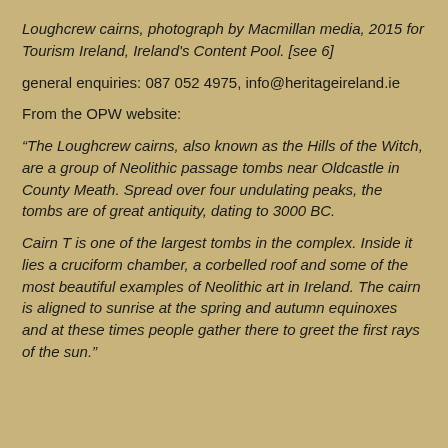Loughcrew cairns, photograph by Macmillan media, 2015 for Tourism Ireland, Ireland's Content Pool. [see 6]
general enquiries: 087 052 4975, info@heritageireland.ie
From the OPW website:
“The Loughcrew cairns, also known as the Hills of the Witch, are a group of Neolithic passage tombs near Oldcastle in County Meath. Spread over four undulating peaks, the tombs are of great antiquity, dating to 3000 BC.
Cairn T is one of the largest tombs in the complex. Inside it lies a cruciform chamber, a corbelled roof and some of the most beautiful examples of Neolithic art in Ireland. The cairn is aligned to sunrise at the spring and autumn equinoxes and at these times people gather there to greet the first rays of the sun.”